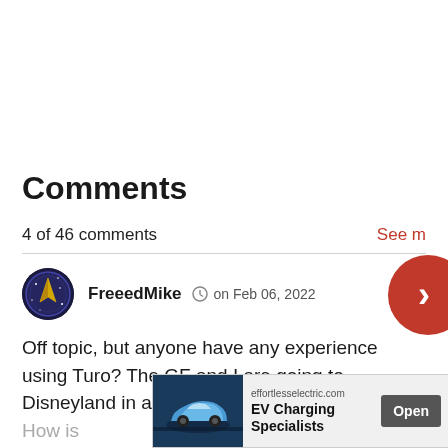Comments
4 of 46 comments
See m...
FreeedMike  on Feb 06, 2022
Off topic, but anyone have any experience using Turo? The GF and I are going to Disneyland in a few weeks... ...A. How is...
[Figure (screenshot): Advertisement banner: effortlesselectric.com EV Charging Specialists with Open button and car image]